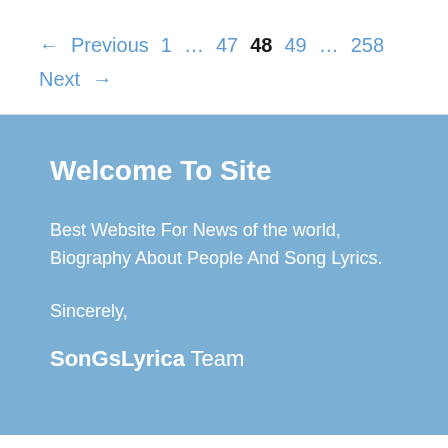← Previous 1 … 47 48 49 … 258 Next →
Welcome To Site
Best Website For News of the world, Biography About People And Song Lyrics.
Sincerely,
SonGsLyrica Team